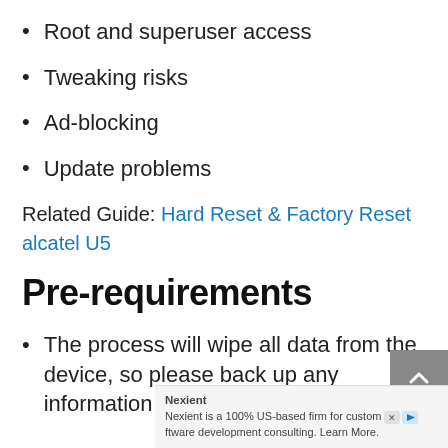Root and superuser access
Tweaking risks
Ad-blocking
Update problems
Related Guide: Hard Reset & Factory Reset alcatel U5
Pre-requirements
The process will wipe all data from the device, so please back up any information you don't want to be lost